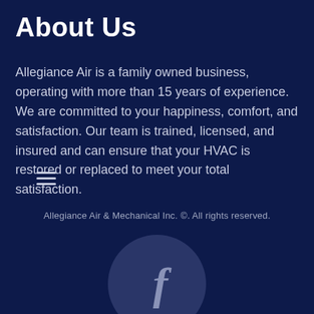About Us
Allegiance Air is a family owned business, operating with more than 15 years of experience. We are committed to your happiness, comfort, and satisfaction. Our team is trained, licensed, and insured and can ensure that your HVAC is restored or replaced to meet your total satisfaction.
[Figure (other): Hamburger menu icon with three horizontal lines]
Allegiance Air & Mechanical Inc. ©. All rights reserved.
[Figure (logo): Facebook logo icon in a dark blue circle]